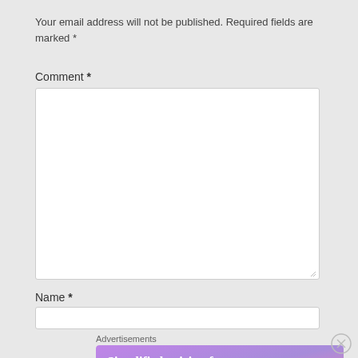Your email address will not be published. Required fields are marked *
Comment *
[Figure (screenshot): Empty comment textarea input field]
Name *
[Figure (screenshot): Empty name text input field]
Advertisements
[Figure (infographic): WordPress.com advertisement banner with gradient purple-pink background reading 'Simplified pricing for everything you need.' with WordPress.com logo]
[Figure (other): Close/dismiss button circle with X symbol]